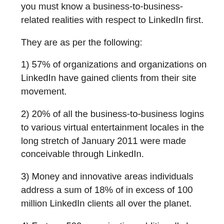you must know a business-to-business-related realities with respect to LinkedIn first.
They are as per the following:
1) 57% of organizations and organizations on LinkedIn have gained clients from their site movement.
2) 20% of all the business-to-business logins to various virtual entertainment locales in the long stretch of January 2011 were made conceivable through LinkedIn.
3) Money and innovative areas individuals address a sum of 18% of in excess of 100 million LinkedIn clients all over the planet.
4) Fortune 500 organization additionally has their